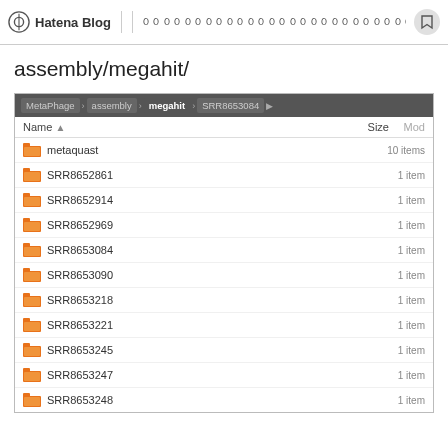Hatena Blog | ００００００００００００００００００００００００００００００００００００００００００００００...
assembly/megahit/
[Figure (screenshot): File browser showing directory listing for assembly/megahit/ with folders: metaquast (10 items), SRR8652861, SRR8652914, SRR8652969, SRR8653084, SRR8653090, SRR8653218, SRR8653221, SRR8653245, SRR8653247, SRR8653248 (each 1 item). Breadcrumb shows MetaPhage > assembly > megahit > SRR8653084. Columns: Name, Size, Mod.]